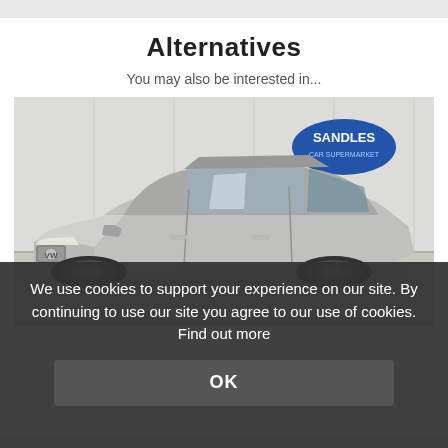Alternatives
You may also be interested in...
[Figure (photo): Silver/grey Volkswagen Passat sedan photographed at a slight angle in a car showroom with a 'Sandles' dealer logo visible on the wall in the background.]
We use cookies to support your experience on our site. By continuing to use our site you agree to our use of cookies. Find out more
OK